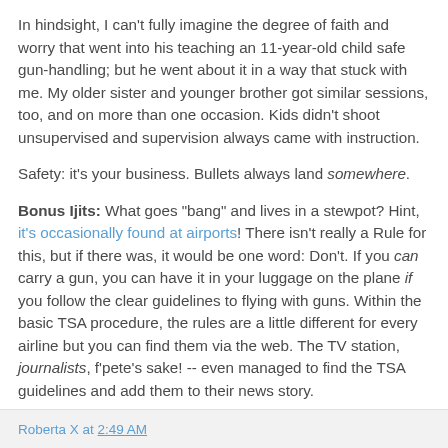In hindsight, I can't fully imagine the degree of faith and worry that went into his teaching an 11-year-old child safe gun-handling; but he went about it in a way that stuck with me. My older sister and younger brother got similar sessions, too, and on more than one occasion. Kids didn't shoot unsupervised and supervision always came with instruction.
Safety: it's your business. Bullets always land somewhere.
Bonus Ijits: What goes "bang" and lives in a stewpot? Hint, it's occasionally found at airports! There isn't really a Rule for this, but if there was, it would be one word: Don't. If you can carry a gun, you can have it in your luggage on the plane if you follow the clear guidelines to flying with guns. Within the basic TSA procedure, the rules are a little different for every airline but you can find them via the web. The TV station, journalists, f'pete's sake! -- even managed to find the TSA guidelines and add them to their news story.
Roberta X at 2:49 AM